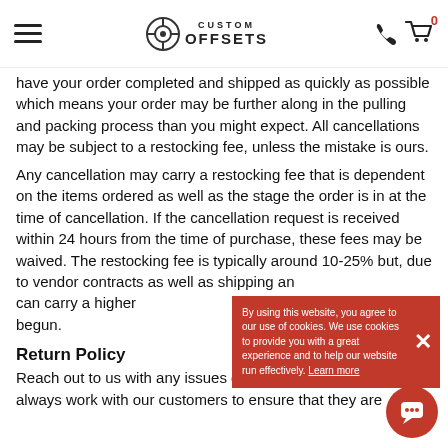Custom Offsets - navigation header with hamburger menu, logo, phone icon, and cart (0)
have your order completed and shipped as quickly as possible which means your order may be further along in the pulling and packing process than you might expect. All cancellations may be subject to a restocking fee, unless the mistake is ours.
Any cancellation may carry a restocking fee that is dependent on the items ordered as well as the stage the order is in at the time of cancellation. If the cancellation request is received within 24 hours from the time of purchase, these fees may be waived. The restocking fee is typically around 10-25% but, due to vendor contracts as well as shipping and handling fees can carry a higher fee once shipping has begun.
Return Policy
Reach out to us with any issues or return questions and we always work with our customers to ensure that they are
By using this website, you agree to our use of cookies. We use cookies to provide you with a great experience and to help our website run effectively. Learn more